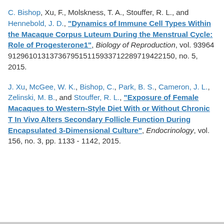C. Bishop, Xu, F., Molskness, T. A., Stouffer, R. L., and Hennebold, J. D., "Dynamics of Immune Cell Types Within the Macaque Corpus Luteum During the Menstrual Cycle: Role of Progesterone1", Biology of Reproduction, vol. 939649129610131373679515115933712289719422150, no. 5, 2015.
J. Xu, McGee, W. K., Bishop, C., Park, B. S., Cameron, J. L., Zelinski, M. B., and Stouffer, R. L., "Exposure of Female Macaques to Western-Style Diet With or Without Chronic T In Vivo Alters Secondary Follicle Function During Encapsulated 3-Dimensional Culture", Endocrinology, vol. 156, no. 3, pp. 1133 - 1142, 2015.